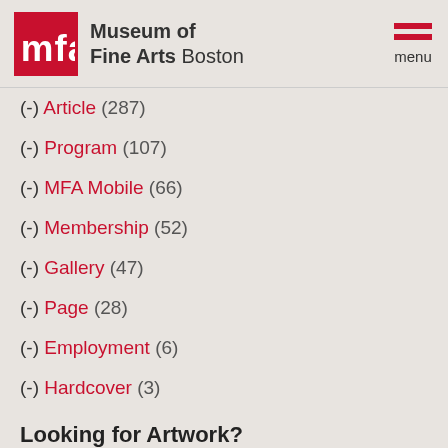Museum of Fine Arts Boston
(-) Article (287)
(-) Program (107)
(-) MFA Mobile (66)
(-) Membership (52)
(-) Gallery (47)
(-) Page (28)
(-) Employment (6)
(-) Hardcover (3)
Looking for Artwork?
Please use our Collections Search to complete or